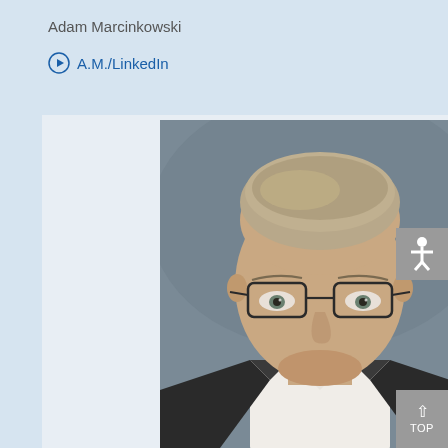Adam Marcinkowski
A.M./LinkedIn
[Figure (photo): Professional headshot of Adam Marcinkowski, a middle-aged man with short gray-blond hair wearing glasses and a dark suit jacket with white shirt, photographed against a gray background.]